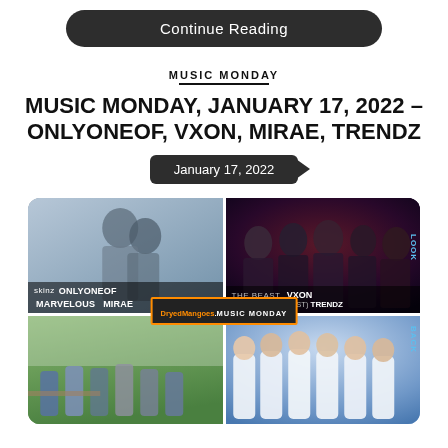[Figure (other): Continue Reading dark rounded button]
MUSIC MONDAY
MUSIC MONDAY, JANUARY 17, 2022 – ONLYONEOF, VXON, MIRAE, TRENDZ
January 17, 2022
[Figure (photo): 2x2 image collage: top-left shows two male K-pop artists close together (OnlyOneOf - skinz), top-right shows five male K-pop artists group photo (VXON - THE BEAST), bottom-left shows K-pop group MIRAE outdoors (MARVELOUS), bottom-right shows K-pop group TRENDZ in white suits (TNT TRUTH&TRUST). Center overlay shows DryedMangoes MUSIC MONDAY label in orange/black.]